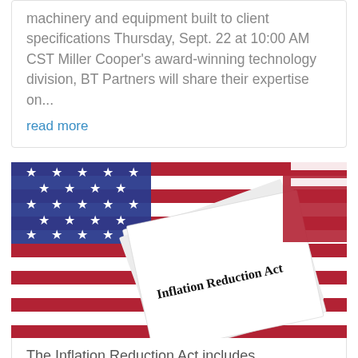machinery and equipment built to client specifications Thursday, Sept. 22 at 10:00 AM CST Miller Cooper's award-winning technology division, BT Partners will share their expertise on...
read more
[Figure (photo): Photo of a document titled 'Inflation Reduction Act' resting on a folded American flag with stars and stripes visible.]
The Inflation Reduction Act includes